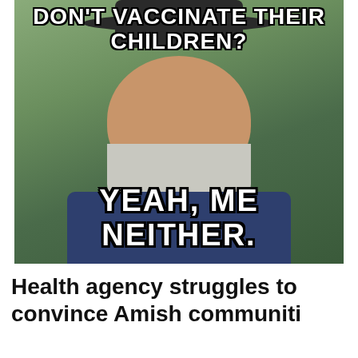[Figure (photo): A meme featuring a smiling Amish man with a wide-brimmed hat and large grey beard, wearing a dark jacket. Top text reads: 'DON'T VACCINATE THEIR CHILDREN?' Bottom text reads: 'YEAH, ME NEITHER.']
Health agency struggles to convince Amish communities...